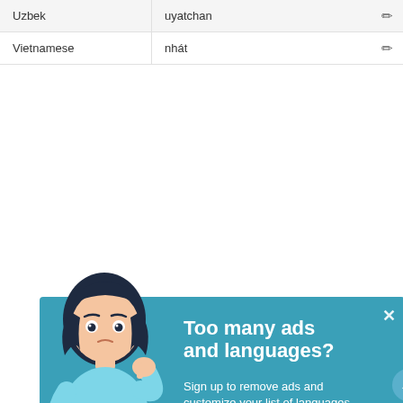| Language | Translation |  |
| --- | --- | --- |
| Uzbek | uyatchan | ✎ |
| Vietnamese | nhát | ✎ |
[Figure (illustration): Advertisement banner with teal background showing an animated woman looking confused, with text 'Too many ads and languages? Sign up to remove ads and customize your list of languages'. Has close (X), up-arrow, and share buttons.]
×